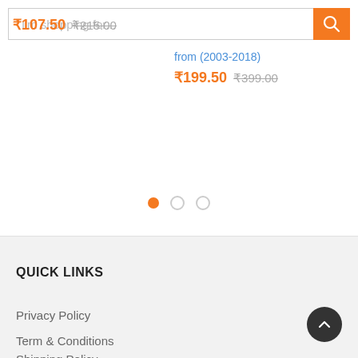[Figure (screenshot): Search bar with placeholder text 'I'm shopping for...' and orange search button with magnifying glass icon]
₹107.50 ₹215.00
from (2003-2018)
₹199.50 ₹399.00
[Figure (other): Carousel pagination dots: one filled orange dot and two empty circles]
QUICK LINKS
Privacy Policy
Term & Conditions
Shipping Policy